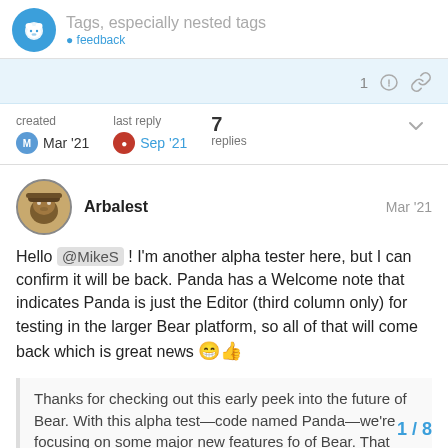Tags, especially nested tags
1 like, link
created Mar '21 | last reply Sep '21 | 7 replies
Arbalest Mar '21
Hello @MikeS ! I'm another alpha tester here, but I can confirm it will be back. Panda has a Welcome note that indicates Panda is just the Editor (third column only) for testing in the larger Bear platform, so all of that will come back which is great news 😁👍
Thanks for checking out this early peek into the future of Bear. With this alpha test—code named Panda—we're focusing on some major new features fo of Bear. That means some of its other m
1 / 8